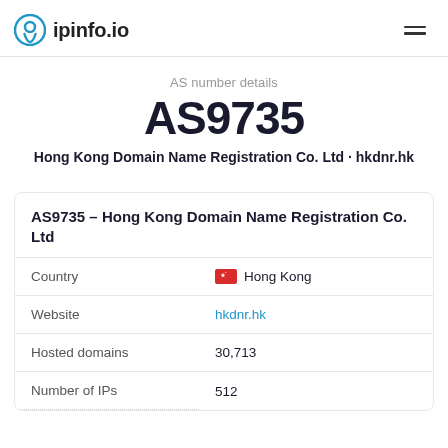ipinfo.io
AS number details
AS9735
Hong Kong Domain Name Registration Co. Ltd · hkdnr.hk
AS9735 – Hong Kong Domain Name Registration Co. Ltd
|  |  |
| --- | --- |
| Country | 🇭🇰 Hong Kong |
| Website | hkdnr.hk |
| Hosted domains | 30,713 |
| Number of IPs | 512 |